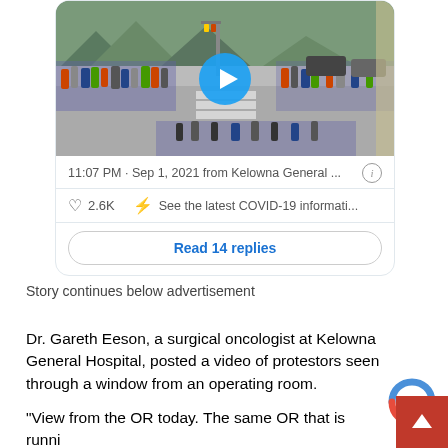[Figure (screenshot): Embedded tweet card showing a video thumbnail of a street protest scene with a play button overlay, timestamp '11:07 PM · Sep 1, 2021 from Kelowna General ...', likes count '2.6K', COVID-19 info link, and 'Read 14 replies' button.]
Story continues below advertisement
Dr. Gareth Eeson, a surgical oncologist at Kelowna General Hospital, posted a video of protestors seen through a window from an operating room.
"View from the OR today. The same OR that is runni...